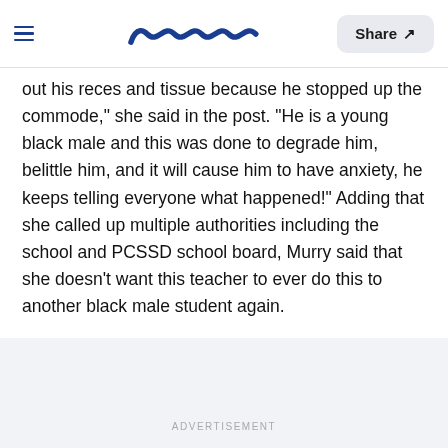≡ meaww  Share ↗
out his reces and tissue because he stopped up the commode," she said in the post. "He is a young black male and this was done to degrade him, belittle him, and it will cause him to have anxiety, he keeps telling everyone what happened!" Adding that she called up multiple authorities including the school and PCSSD school board, Murry said that she doesn't want this teacher to ever do this to another black male student again.
ADVERTISEMENT